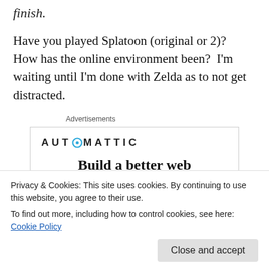finish.
Have you played Splatoon (original or 2)?  How has the online environment been?  I'm waiting until I'm done with Zelda as to not get distracted.
Advertisements
[Figure (logo): Automattic logo with blue circle-O mark and all-caps sans-serif text: AUTOMATTIC]
Build a better web and a better world.
Privacy & Cookies: This site uses cookies. By continuing to use this website, you agree to their use.
To find out more, including how to control cookies, see here: Cookie Policy